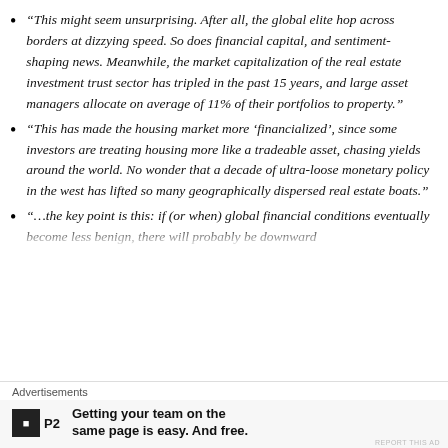“This might seem unsurprising. After all, the global elite hop across borders at dizzying speed. So does financial capital, and sentiment-shaping news. Meanwhile, the market capitalization of the real estate investment trust sector has tripled in the past 15 years, and large asset managers allocate on average of 11% of their portfolios to property.”
“This has made the housing market more ‘financialized’, since some investors are treating housing more like a tradeable asset, chasing yields around the world. No wonder that a decade of ultra-loose monetary policy in the west has lifted so many geographically dispersed real estate boats.”
“…the key point is this: if (or when) global financial conditions eventually become less benign, there will probably be downward
Advertisements
[Figure (other): Advertisement banner for P2 with logo and tagline: Getting your team on the same page is easy. And free.]